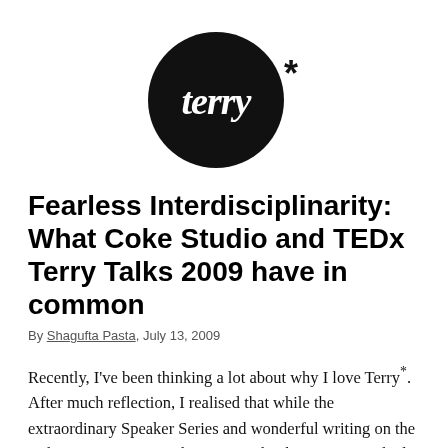[Figure (logo): Black circular logo with white cursive text 'terry' and an asterisk (*) to the right of the circle]
Fearless Interdisciplinarity: What Coke Studio and TEDx Terry Talks 2009 have in common
By Shagufta Pasta, July 13, 2009
Recently, I've been thinking a lot about why I love Terry*. After much reflection, I realised that while the extraordinary Speaker Series and wonderful writing on the website are awesome, they aren't what keeps me attached to the project. Rather, it is the commitment to